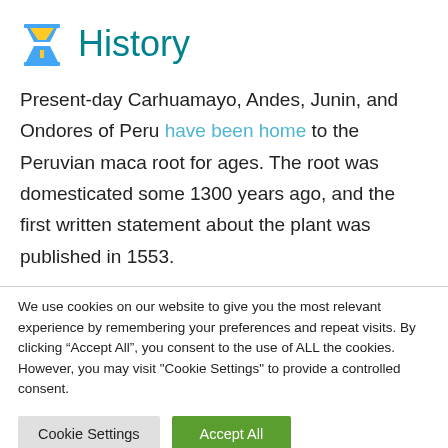History
Present-day Carhuamayo, Andes, Junin, and Ondores of Peru have been home to the Peruvian maca root for ages. The root was domesticated some 1300 years ago, and the first written statement about the plant was published in 1553.
We use cookies on our website to give you the most relevant experience by remembering your preferences and repeat visits. By clicking “Accept All”, you consent to the use of ALL the cookies. However, you may visit "Cookie Settings" to provide a controlled consent.